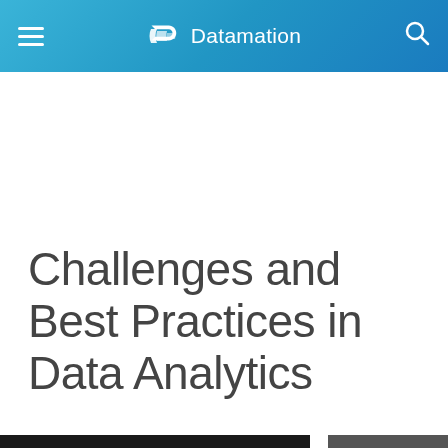Datamation
Challenges and Best Practices in Data Analytics
Home › Big Data
[Figure (photo): Author headshot avatar, circular crop, male person in dark jacket]
B